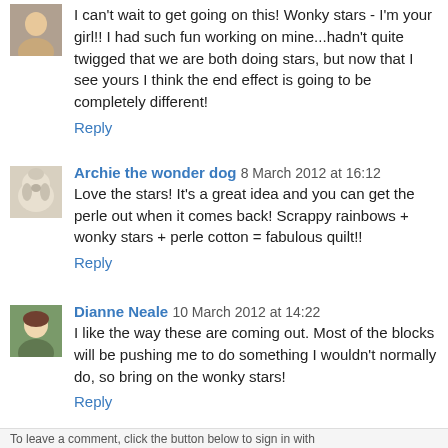I can't wait to get going on this! Wonky stars - I'm your girl!! I had such fun working on mine...hadn't quite twigged that we are both doing stars, but now that I see yours I think the end effect is going to be completely different!
Reply
Archie the wonder dog 8 March 2012 at 16:12
Love the stars! It's a great idea and you can get the perle out when it comes back! Scrappy rainbows + wonky stars + perle cotton = fabulous quilt!!
Reply
Dianne Neale 10 March 2012 at 14:22
I like the way these are coming out. Most of the blocks will be pushing me to do something I wouldn't normally do, so bring on the wonky stars!
Reply
To leave a comment, click the button below to sign in with